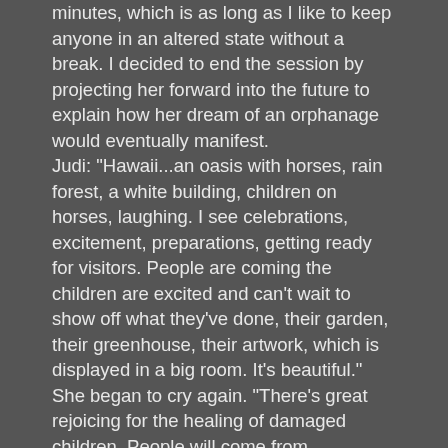minutes, which is as long as I like to keep anyone in an altered state without a break. I decided to end the session by projecting her forward into the future to explain how her dream of an orphanage would eventually manifest.
Judi: "Hawaii...an oasis with horses, rain forest, a white building, children on horses, laughing. I see celebrations, excitement, preparations, getting ready for visitors. People are coming the children are excited and can't wait to show off what they've done, their garden, their greenhouse, their artwork, which is displayed in a big room. It's beautiful." She began to cry again. "There's great rejoicing for the healing of damaged children. People will come from everywhere to learn about it.
"And you're going to write about it to generate this attention?"
Judi: "Yes, plus speaking, interviews, traveling, fund